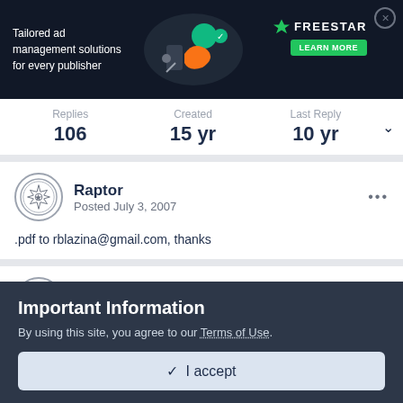[Figure (illustration): Freestar ad banner: dark background with text 'Tailored ad management solutions for every publisher', decorative illustration of person with phone, Freestar logo and LEARN MORE button, close X button]
Replies 106   Created 15 yr   Last Reply 10 yr
Raptor
Posted July 3, 2007
.pdf to rblazina@gmail.com, thanks
defelcj
Important Information
By using this site, you agree to our Terms of Use.
✓  I accept